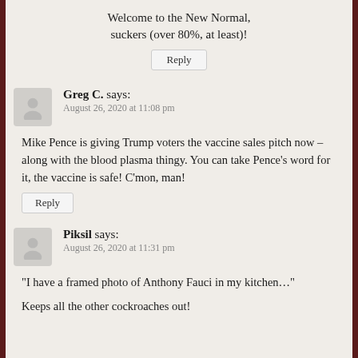Welcome to the New Normal, suckers (over 80%, at least)!
Reply
Greg C. says:
August 26, 2020 at 11:08 pm
Mike Pence is giving Trump voters the vaccine sales pitch now – along with the blood plasma thingy. You can take Pence’s word for it, the vaccine is safe! C’mon, man!
Reply
Piksil says:
August 26, 2020 at 11:31 pm
“I have a framed photo of Anthony Fauci in my kitchen…”
Keeps all the other cockroaches out!